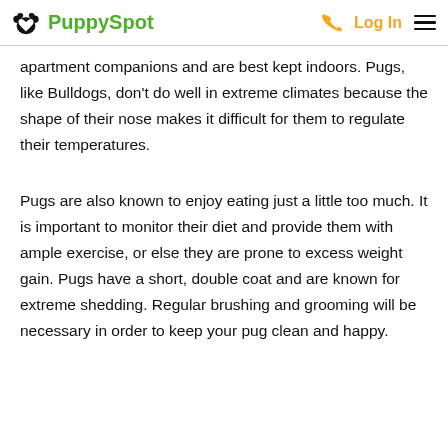PuppySpot  Log In
apartment companions and are best kept indoors. Pugs, like Bulldogs, don't do well in extreme climates because the shape of their nose makes it difficult for them to regulate their temperatures.
Pugs are also known to enjoy eating just a little too much. It is important to monitor their diet and provide them with ample exercise, or else they are prone to excess weight gain. Pugs have a short, double coat and are known for extreme shedding. Regular brushing and grooming will be necessary in order to keep your pug clean and happy.